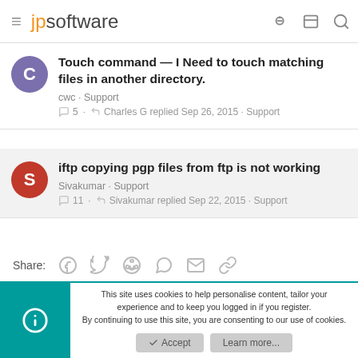jpsoftware
Touch command — I Need to touch matching files in another directory.
cwc · Support
5 · Charles G replied Sep 26, 2015 · Support
iftp copying pgp files from ftp is not working
Sivakumar · Support
11 · Sivakumar replied Sep 22, 2015 · Support
Share:
This site uses cookies to help personalise content, tailor your experience and to keep you logged in if you register.
By continuing to use this site, you are consenting to our use of cookies.